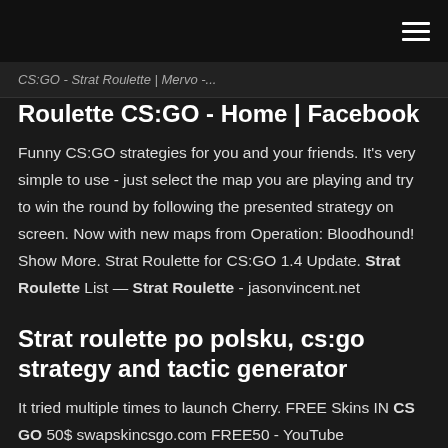CS:GO - Strat Roulette | Mervo -...
Roulette CS:GO - Home | Facebook
Funny CS:GO strategies for you and your friends. It's very simple to use - just select the map you are playing and try to win the round by following the presented strategy on screen. Now with new maps from Operation: Bloodhound! Show More. Strat Roulette for CS:GO 1.4 Update. Strat Roulette List — Strat Roulette - jasonvincent.net
Strat roulette po polsku, cs:go strategy and tactic generator
It tried multiple times to launch Cherry. FREE Skins IN CS GO 50$ swapskincsgo.com FREE50 - YouTube